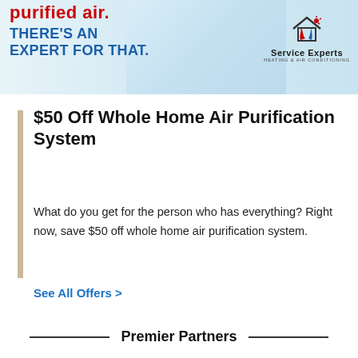[Figure (illustration): Service Experts Heating & Air Conditioning advertisement banner. Red bold text partially visible at top, blue bold text reading THERE'S AN EXPERT FOR THAT. with a room interior photo and the Service Experts logo (flame/house icon).]
$50 Off Whole Home Air Purification System
What do you get for the person who has everything? Right now, save $50 off whole home air purification system.
See All Offers >
Premier Partners